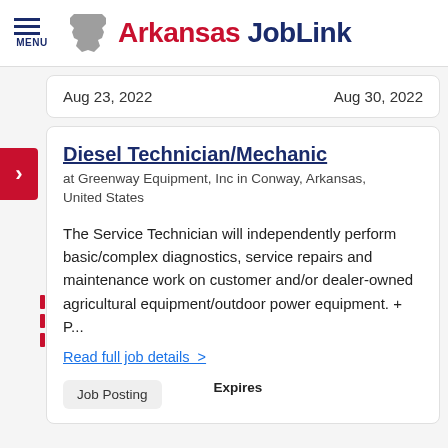Arkansas JobLink
Aug 23, 2022    Aug 30, 2022
Diesel Technician/Mechanic
at Greenway Equipment, Inc in Conway, Arkansas, United States
The Service Technician will independently perform basic/complex diagnostics, service repairs and maintenance work on customer and/or dealer-owned agricultural equipment/outdoor power equipment. + P...
Read full job details  >
Job Posting
Expires